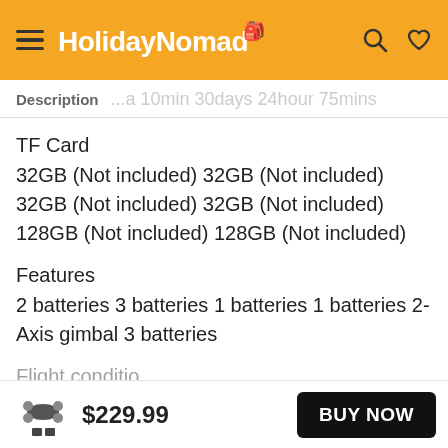HolidayNomad
Description
TF Card
32GB (Not included) 32GB (Not included) 32GB (Not included) 32GB (Not included) 128GB (Not included) 128GB (Not included)
Features
2 batteries 3 batteries 1 batteries 1 batteries 2-Axis gimbal 3 batteries
Flight condition...
$229.99
BUY NOW